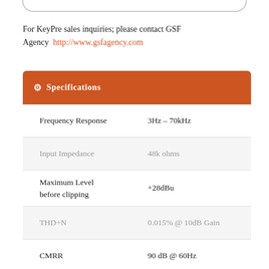For KeyPre sales inquiries; please contact GSF Agency http://www.gsfagency.com
Specifications
| Parameter | Value |
| --- | --- |
| Frequency Response | 3Hz – 70kHz |
| Input Impedance | 48k ohms |
| Maximum Level before clipping | +28dBu |
| THD+N | 0.015% @ 10dB Gain |
| CMRR | 90 dB @ 60Hz |
| IMD | 0.02% (400Hz, 4kHz) |